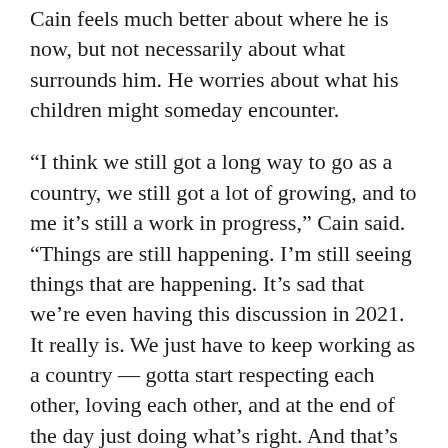Cain feels much better about where he is now, but not necessarily about what surrounds him. He worries about what his children might someday encounter.
“I think we still got a long way to go as a country, we still got a lot of growing, and to me it’s still a work in progress,” Cain said. “Things are still happening. I’m still seeing things that are happening. It’s sad that we’re even having this discussion in 2021. It really is. We just have to keep working as a country — gotta start respecting each other, loving each other, and at the end of the day just doing what’s right. And that’s why I went to seek God as much as I wanted to. I want to seek God for that exact reason. It helped me grow as a person. Instead of being angry over everything